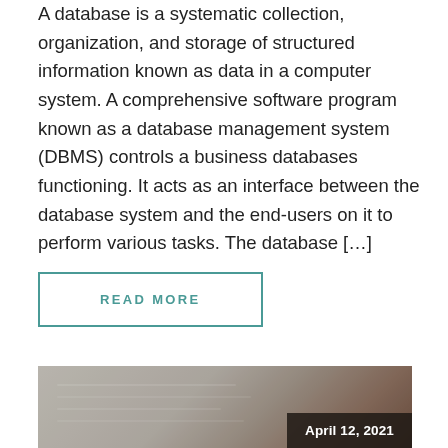A database is a systematic collection, organization, and storage of structured information known as data in a computer system. A comprehensive software program known as a database management system (DBMS) controls a business databases functioning. It acts as an interface between the database system and the end-users on it to perform various tasks. The database […]
READ MORE
[Figure (photo): A photo of papers/documents with a dark overlay badge showing the date April 12, 2021]